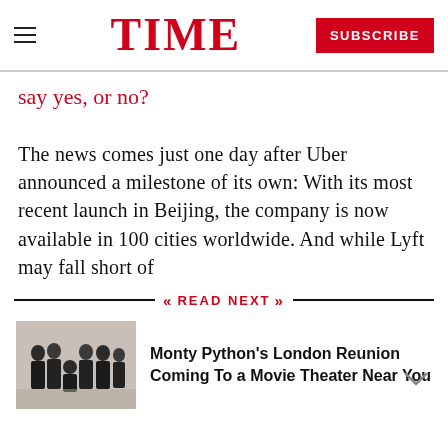TIME | SUBSCRIBE
say yes, or no?
The news comes just one day after Uber announced a milestone of its own: With its most recent launch in Beijing, the company is now available in 100 cities worldwide. And while Lyft may fall short of
READ NEXT
[Figure (photo): Group photo of Monty Python members in formal attire]
Monty Python's London Reunion Coming To a Movie Theater Near You